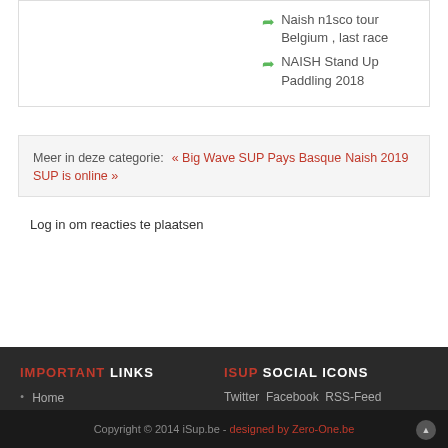Naish n1sco tour Belgium , last race
NAISH Stand Up Paddling 2018
Meer in deze categorie: « Big Wave SUP Pays Basque   Naish 2019 SUP is online »
Log in om reacties te plaatsen
IMPORTANT LINKS
Home
Zero-One BVBA
ISUP SOCIAL ICONS
Twitter  Facebook  RSS-Feed
Copyright © 2014 iSup.be - designed by Zero-One.be